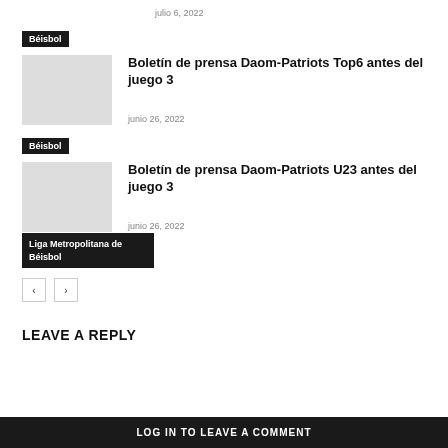julio 6, 2022
Béisbol
Boletín de prensa Daom-Patriots Top6 antes del juego 3
junio 26, 2022
Béisbol
Boletín de prensa Daom-Patriots U23 antes del juego 3
junio 26, 2022
Liga Metropolitana de Béisbol
LEAVE A REPLY
LOG IN TO LEAVE A COMMENT